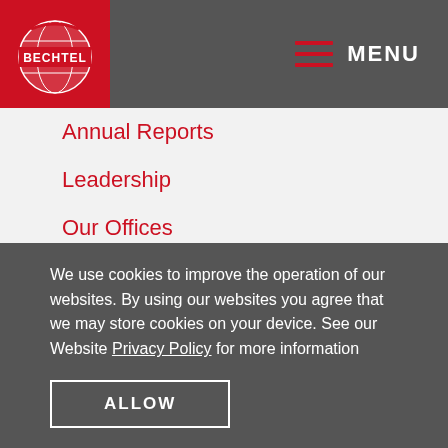[Figure (logo): Bechtel company logo: red circle with globe graphic and BECHTEL text in white, on red background square in header]
MENU
Annual Reports
Leadership
Our Offices
Contact Us
Alumni Network
WHAT WE BELIEVE
We use cookies to improve the operation of our websites. By using our websites you agree that we may store cookies on your device. See our Website Privacy Policy for more information
ALLOW